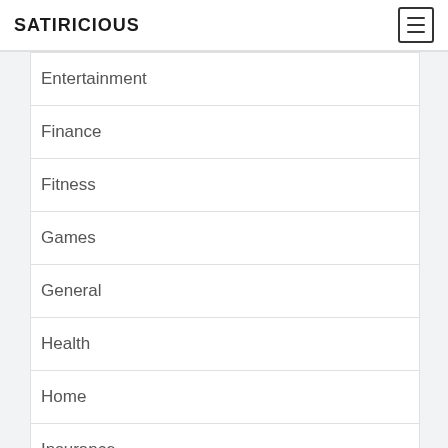SATIRICIOUS
Entertainment
Finance
Fitness
Games
General
Health
Home
Insurance
Internet Marketing
law